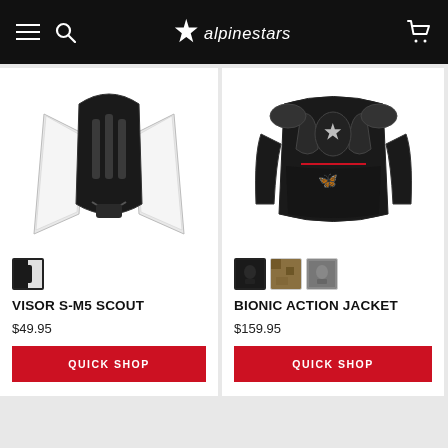Alpinestars navigation header with hamburger menu, search icon, Alpinestars logo, and cart icon
[Figure (photo): Product photo of Alpinestars Visor S-M5 Scout helmet visor in black and white]
[Figure (photo): Color swatch for Visor S-M5 Scout in black/white]
VISOR S-M5 SCOUT
$49.95
QUICK SHOP
[Figure (photo): Product photo of Alpinestars Bionic Action Jacket in black with red accents]
[Figure (photo): Color swatches for Bionic Action Jacket: black, camo/tan, grey]
BIONIC ACTION JACKET
$159.95
QUICK SHOP